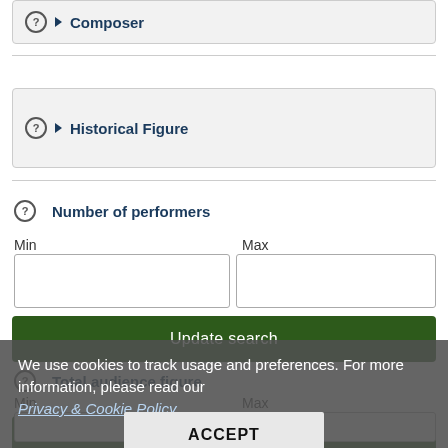Composer
Historical Figure
Number of performers
Min
Max
Update search
Total audience figure
Min
Max
We use cookies to track usage and preferences. For more information, please read our Privacy & Cookie Policy.
ACCEPT
Update search